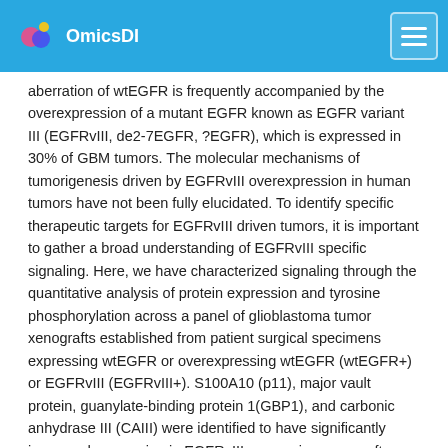OmicsDI
aberration of wtEGFR is frequently accompanied by the overexpression of a mutant EGFR known as EGFR variant III (EGFRvIII, de2-7EGFR, ?EGFR), which is expressed in 30% of GBM tumors. The molecular mechanisms of tumorigenesis driven by EGFRvIII overexpression in human tumors have not been fully elucidated. To identify specific therapeutic targets for EGFRvIII driven tumors, it is important to gather a broad understanding of EGFRvIII specific signaling. Here, we have characterized signaling through the quantitative analysis of protein expression and tyrosine phosphorylation across a panel of glioblastoma tumor xenografts established from patient surgical specimens expressing wtEGFR or overexpressing wtEGFR (wtEGFR+) or EGFRvIII (EGFRvIII+). S100A10 (p11), major vault protein, guanylate-binding protein 1(GBP1), and carbonic anhydrase III (CAIII) were identified to have significantly increased expression in EGFRvIII expressing xenograft tumors relative to wtEGFR xenograft tumors. Increased expression of these four individual proteins